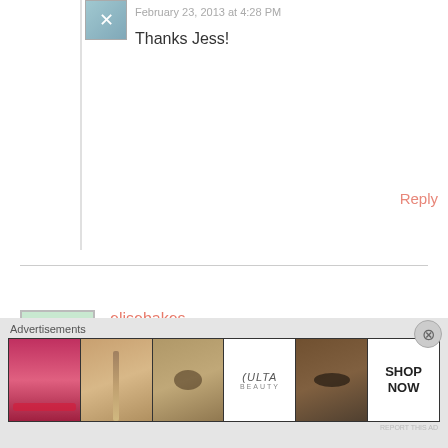February 23, 2013 at 4:28 PM
Thanks Jess!
Reply
[Figure (illustration): Blog comment avatar thumbnail with decorative border]
elisebakes
February 28, 2013 at 8:22 AM
I love fresh blueberries in anything – it such a gorgeous color! this looks so amazing!
Reply
Advertisements
[Figure (photo): ULTA beauty advertisement banner with makeup images and Shop Now button]